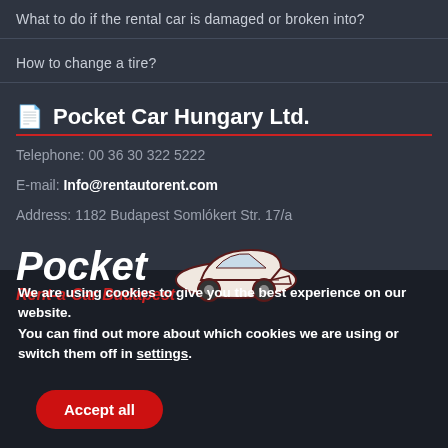What to do if the rental car is damaged or broken into?
How to change a tire?
Pocket Car Hungary Ltd.
Telephone: 00 36 30 322 5222
E-mail: Info@rentautorent.com
Address: 1182 Budapest Somlókert Str. 17/a
[Figure (logo): Pocket Rent-a-Car Budapest logo with stylized car illustration]
We are using cookies to give you the best experience on our website.
You can find out more about which cookies we are using or switch them off in settings.
Accept all